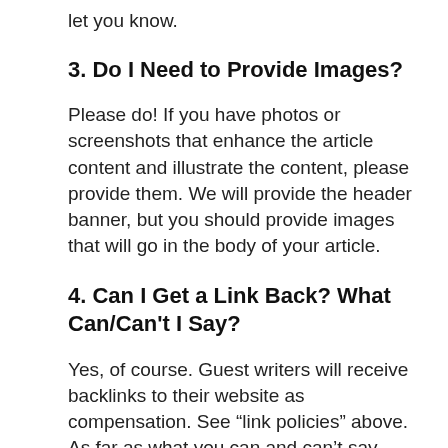let you know.
3. Do I Need to Provide Images?
Please do! If you have photos or screenshots that enhance the article content and illustrate the content, please provide them. We will provide the header banner, but you should provide images that will go in the body of your article.
4. Can I Get a Link Back? What Can/Can't I Say?
Yes, of course. Guest writers will receive backlinks to their website as compensation. See “link policies” above. As far as what you can and can’t say, your examples and backlinks should It not to your competitors